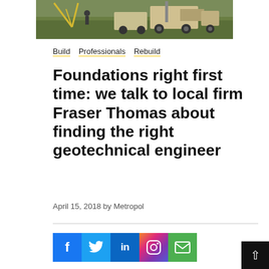[Figure (photo): Partial view of geotechnical drilling equipment / trucks on a grassy site]
Build  Professionals  Rebuild
Foundations right first time: we talk to local firm Fraser Thomas about finding the right geotechnical engineer
April 15, 2018 by Metropol
[Figure (infographic): Social share buttons: Facebook, Twitter, LinkedIn, Instagram, Email]